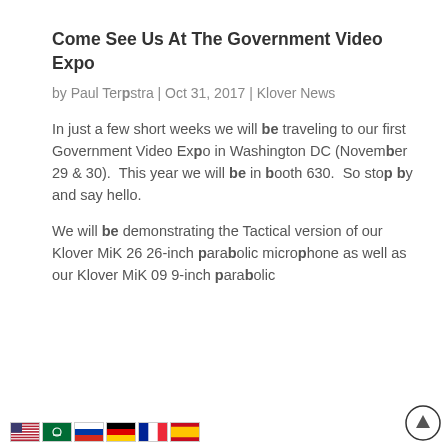Come See Us At The Government Video Expo
by Paul Terpstra | Oct 31, 2017 | Klover News
In just a few short weeks we will be traveling to our first Government Video Expo in Washington DC (November 29 & 30).  This year we will be in booth 630.  So stop by and say hello.
We will be demonstrating the Tactical version of our Klover MiK 26 26-inch parabolic microphone as well as our Klover MiK 09 9-inch parabolic